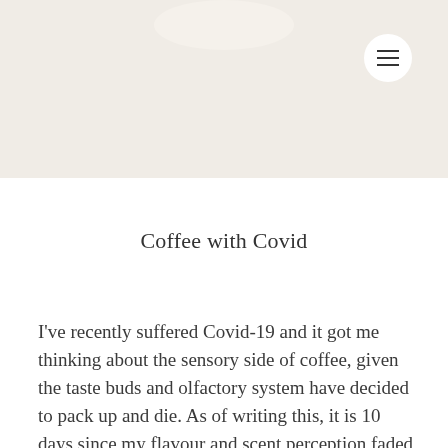[Figure (photo): Top portion of a coffee cup on a light beige/cream background, cropped so only the rim and top of the cup are visible. A circular hamburger menu button (three horizontal lines) is in the upper right area.]
Coffee with Covid
I've recently suffered Covid-19 and it got me thinking about the sensory side of coffee, given the taste buds and olfactory system have decided to pack up and die. As of writing this, it is 10 days since my flavour and scent perception faded and 14 since the first symptoms started, those being fatigue, headaches and brain fog.
In a way, it's rather welcome. I've neglected the blog for a long time due to a mix of